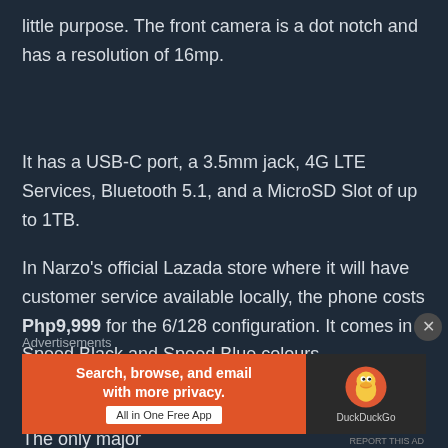little purpose. The front camera is a dot notch and has a resolution of 16mp.
It has a USB-C port, a 3.5mm jack, 4G LTE Services, Bluetooth 5.1, and a MicroSD Slot of up to 1TB.
In Narzo's official Lazada store where it will have customer service available locally, the phone costs Php9,999 for the 6/128 configuration. It comes in Speed Black and Speed Blue colours.
Since the internals are identical to that of the Realme 8i, you can also purchase that instead. The only major
Advertisements
[Figure (screenshot): DuckDuckGo advertisement banner: orange left panel with text 'Search, browse, and email with more privacy. All in One Free App', dark right panel with DuckDuckGo duck logo and DuckDuckGo text. REPORT THIS AD label at bottom right.]